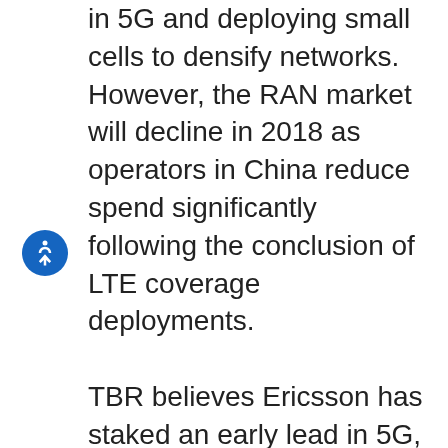in 5G and deploying small cells to densify networks. However, the RAN market will decline in 2018 as operators in China reduce spend significantly following the conclusion of LTE coverage deployments. TBR believes Ericsson has staked an early lead in 5G, but Nokia (NYSE: NOK) and Huawei can leverage their end-to-end portfolios to regain share. In 4Q17 and 1Q18 Ericsson (Nasdaq: ERIC) aggressively priced its Ericsson Radio System (ERS), which is software-upgradeable to 5G, undercutting competitors to gain market share ahead of commercial 5G build-outs. Nokia and Huawei remain well positioned in 5G due to their ability to leverage end-to-end portfolios as a one-stop shop for network transformation in